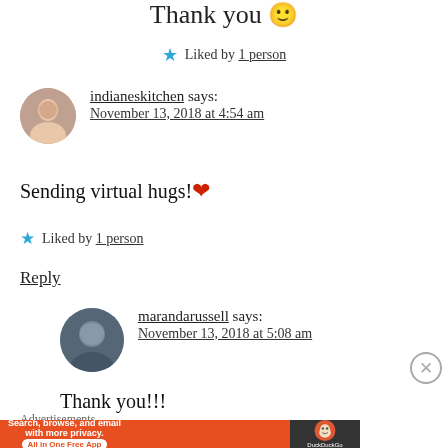Thank you 🙂
Liked by 1 person
indianeskitchen says: November 13, 2018 at 4:54 am
Sending virtual hugs!❤
Liked by 1 person
Reply
marandarussell says: November 13, 2018 at 5:08 am
Thank you!!!
Advertisements
[Figure (infographic): DuckDuckGo advertisement banner: orange background with text 'Search, browse, and email with more privacy. All in One Free App' and DuckDuckGo duck logo on dark background]